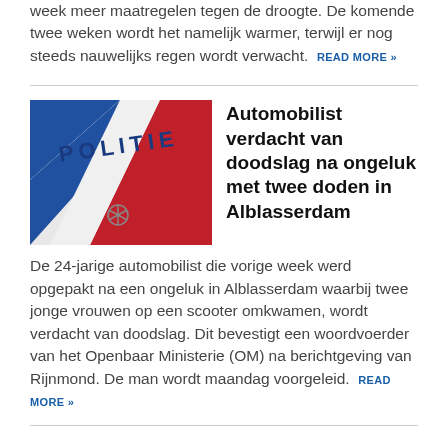week meer maatregelen tegen de droogte. De komende twee weken wordt het namelijk warmer, terwijl er nog steeds nauwelijks regen wordt verwacht. READ MORE »
[Figure (photo): Close-up photo of a Dutch police car showing the word POLITIE and the blue, white, and red geometric livery.]
Automobilist verdacht van doodslag na ongeluk met twee doden in Alblasserdam
De 24-jarige automobilist die vorige week werd opgepakt na een ongeluk in Alblasserdam waarbij twee jonge vrouwen op een scooter omkwamen, wordt verdacht van doodslag. Dit bevestigt een woordvoerder van het Openbaar Ministerie (OM) na berichtgeving van Rijnmond. De man wordt maandag voorgeleid. READ MORE »